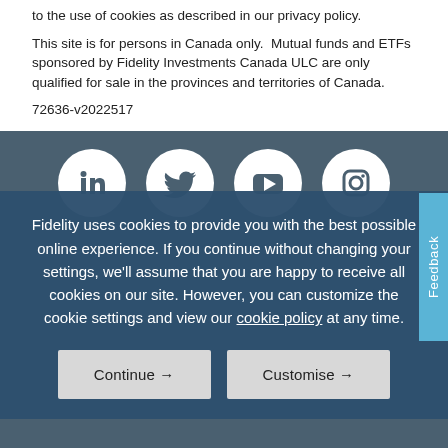to the use of cookies as described in our privacy policy.
This site is for persons in Canada only. Mutual funds and ETFs sponsored by Fidelity Investments Canada ULC are only qualified for sale in the provinces and territories of Canada.
72636-v2022517
[Figure (infographic): Four social media icons in white circles on dark blue-grey background: LinkedIn, Twitter, YouTube, Instagram]
Fidelity uses cookies to provide you with the best possible online experience. If you continue without changing your settings, we'll assume that you are happy to receive all cookies on our site. However, you can customize the cookie settings and view our cookie policy at any time.